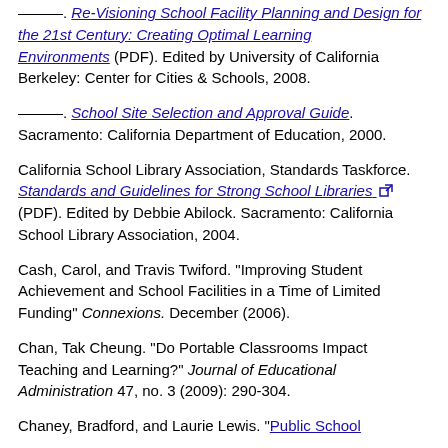———. Re-Visioning School Facility Planning and Design for the 21st Century: Creating Optimal Learning Environments (PDF). Edited by University of California Berkeley: Center for Cities & Schools, 2008.
———. School Site Selection and Approval Guide. Sacramento: California Department of Education, 2000.
California School Library Association, Standards Taskforce. Standards and Guidelines for Strong School Libraries (PDF). Edited by Debbie Abilock. Sacramento: California School Library Association, 2004.
Cash, Carol, and Travis Twiford. "Improving Student Achievement and School Facilities in a Time of Limited Funding" Connexions. December (2006).
Chan, Tak Cheung. "Do Portable Classrooms Impact Teaching and Learning?" Journal of Educational Administration 47, no. 3 (2009): 290-304.
Chaney, Bradford, and Laurie Lewis. "Public School...